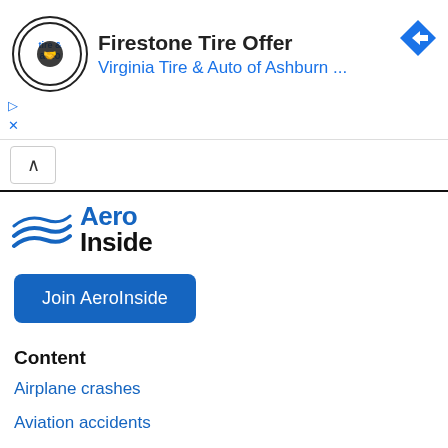[Figure (screenshot): Advertisement banner for Firestone Tire Offer by Virginia Tire & Auto of Ashburn with logo, navigation arrow icon, and ad controls]
[Figure (logo): AeroInside logo with blue wave/wing graphic and text 'Aero Inside']
Join AeroInside
Content
Airplane crashes
Aviation accidents
Aviation incidents
Reports
News